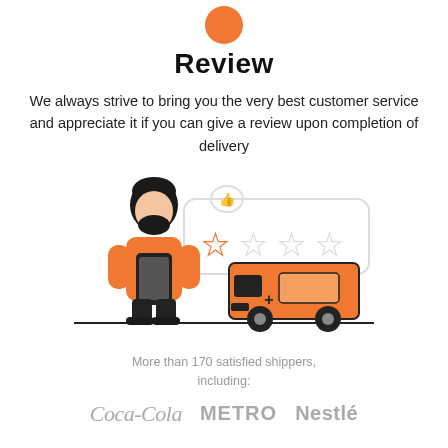[Figure (illustration): Orange circle dot at top of page]
Review
We always strive to bring you the very best customer service and appreciate it if you can give a review upon completion of delivery
[Figure (illustration): Person in orange shirt holding phone, with a review dialog showing stars, and an orange delivery van behind]
More than 170 satisfied shippers, including:
[Figure (logo): Logos of Coca-Cola, METRO, and Nestlé in grey]